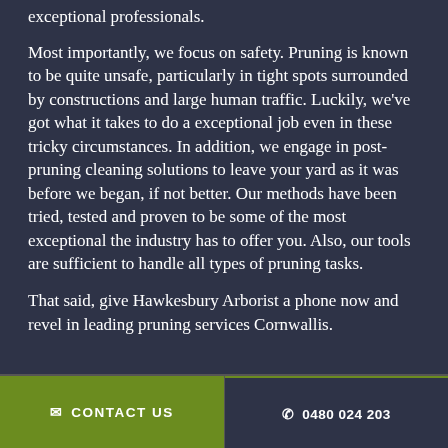exceptional professionals.
Most importantly, we focus on safety. Pruning is known to be quite unsafe, particularly in tight spots surrounded by constructions and large human traffic. Luckily, we've got what it takes to do a exceptional job even in these tricky circumstances. In addition, we engage in post-pruning cleaning solutions to leave your yard as it was before we began, if not better. Our methods have been tried, tested and proven to be some of the most exceptional the industry has to offer you. Also, our tools are sufficient to handle all types of pruning tasks.
That said, give Hawkesbury Arborist a phone now and revel in leading pruning services Cornwallis.
✉ CONTACT US   ✆ 0480 024 203